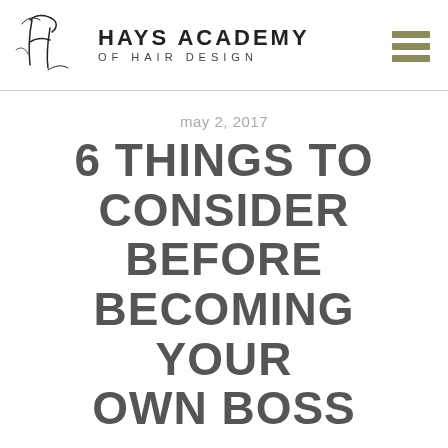[Figure (logo): Hays Academy of Hair Design logo with stylized HA script and text]
may 2, 2017
6 THINGS TO CONSIDER BEFORE BECOMING YOUR OWN BOSS
[Figure (infographic): Social sharing buttons: share (+), Facebook, Twitter, email, Pinterest]